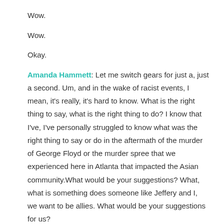Wow.
Wow.
Okay.
Amanda Hammett: Let me switch gears for just a, just a second. Um, and in the wake of racist events, I mean, it's really, it's hard to know. What is the right thing to say, what is the right thing to do? I know that I've, I've personally struggled to know what was the right thing to say or do in the aftermath of the murder of George Floyd or the murder spree that we experienced here in Atlanta that impacted the Asian community.What would be your suggestions? What, what is something does someone like Jeffery and I, we want to be allies. What would be your suggestions for us?